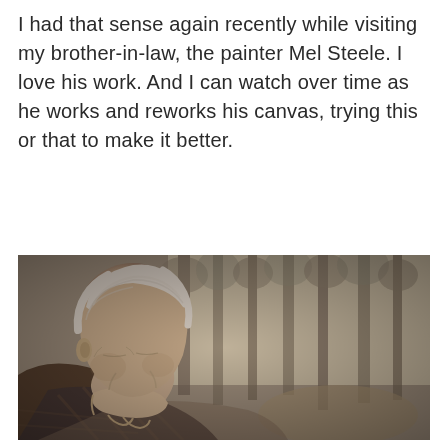I had that sense again recently while visiting my brother-in-law, the painter Mel Steele. I love his work. And I can watch over time as he works and reworks his canvas, trying this or that to make it better.
[Figure (photo): Black and white photograph of an elderly man with white hair resting his chin on his hand, seated outdoors with trees in the background.]